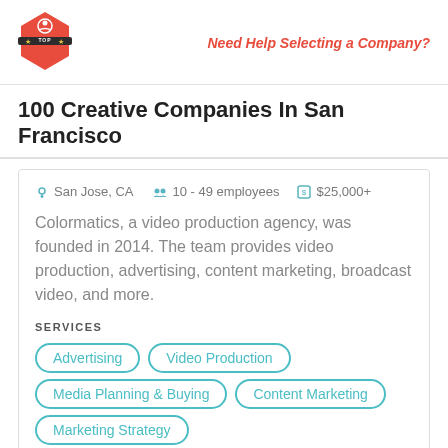[Figure (logo): Top Design Firms logo — red hexagon badge with crown icon]
Need Help Selecting a Company?
100 Creative Companies In San Francisco
San Jose, CA   10 - 49 employees   $25,000+
Colormatics, a video production agency, was founded in 2014. The team provides video production, advertising, content marketing, broadcast video, and more.
SERVICES
Advertising
Video Production
Media Planning & Buying
Content Marketing
Marketing Strategy
CLIENT FOCUS